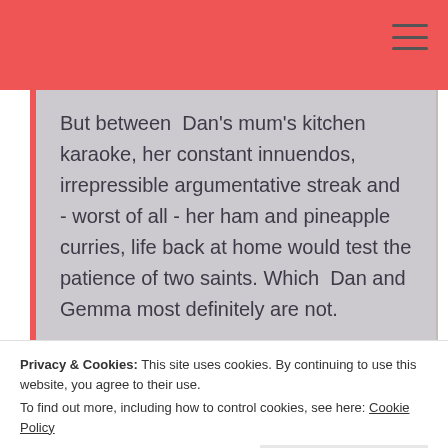But between  Dan's mum's kitchen karaoke, her constant innuendos, irrepressible argumentative streak and - worst of all - her ham and pineapple curries, life back at home would test the patience of two saints. Which  Dan and Gemma most definitely are not.
Then, as they're trying to convince themselves it will all be worth it, Gemma's past comes back to haunt her. And
Privacy & Cookies: This site uses cookies. By continuing to use this website, you agree to their use.
To find out more, including how to control cookies, see here: Cookie Policy
Close and accept
should have a chance!